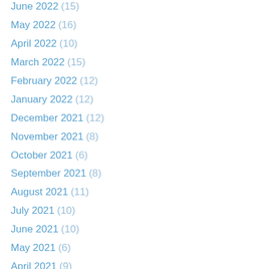June 2022 (15)
May 2022 (16)
April 2022 (10)
March 2022 (15)
February 2022 (12)
January 2022 (12)
December 2021 (12)
November 2021 (8)
October 2021 (6)
September 2021 (8)
August 2021 (11)
July 2021 (10)
June 2021 (10)
May 2021 (6)
April 2021 (9)
March 2021 (8)
February 2021 (7)
January 2021 (15)
December 2020 (13)
November 2020 (17)